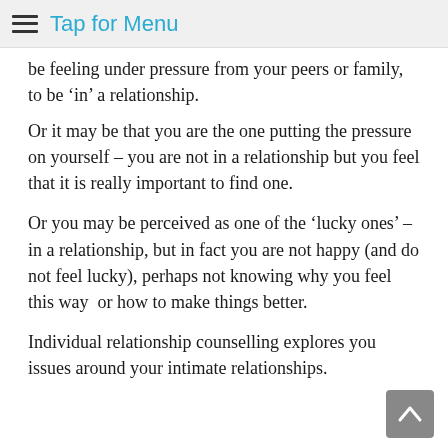Tap for Menu
be feeling under pressure from your peers or family, to be ‘in’ a relationship.
Or it may be that you are the one putting the pressure on yourself – you are not in a relationship but you feel that it is really important to find one.
Or you may be perceived as one of the ‘lucky ones’ – in a relationship, but in fact you are not happy (and do not feel lucky), perhaps not knowing why you feel this way  or how to make things better.
Individual relationship counselling explores you issues around your intimate relationships.